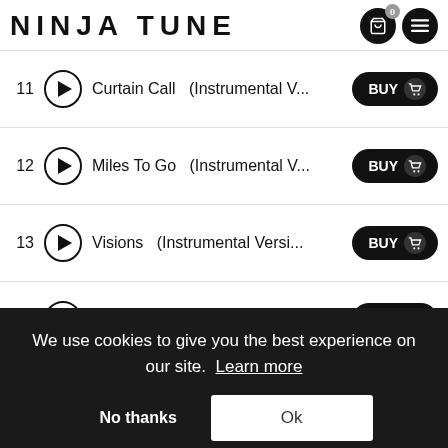NINJA TUNE
11  Curtain Call  (Instrumental V...  BUY
12  Miles To Go  (Instrumental V...  BUY
13  Visions  (Instrumental Versi...  BUY
14  Assassinations  (Instrumental...  BUY
15  I'm On Fire  (Instrumental V...  BUY
We use cookies to give you the best experience on our site. Learn more
No thanks   Ok
19  Cosmic Policy  ...lain  (Instru...  BUY